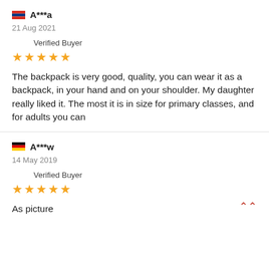A***a
21 Aug 2021
Verified Buyer
★★★★★
The backpack is very good, quality, you can wear it as a backpack, in your hand and on your shoulder. My daughter really liked it. The most it is in size for primary classes, and for adults you can
A***w
14 May 2019
Verified Buyer
★★★★★
As picture